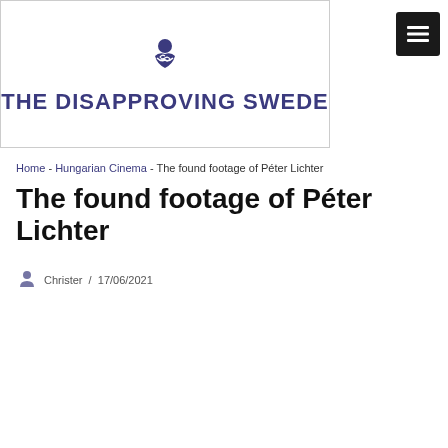[Figure (logo): The Disapproving Swede logo: a stylized figure with arms crossed above the site name in dark blue uppercase letters]
Home - Hungarian Cinema - The found footage of Péter Lichter
The found footage of Péter Lichter
Christer / 17/06/2021